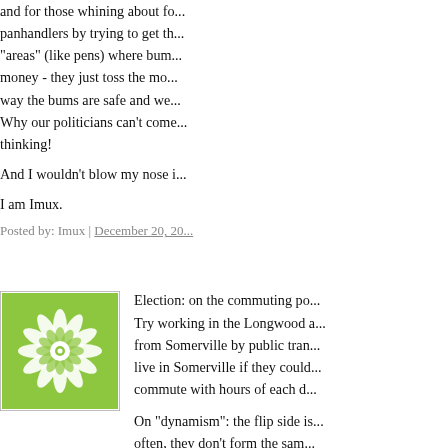and for those whining about fo... panhandlers by trying to get th... "areas" (like pens) where bum... money - they just toss the mo... way the bums are safe and we... Why our politicians can't come... thinking!

And I wouldn't blow my nose i...

I am Imux.
Posted by: Imux | December 20, 20...
[Figure (illustration): Green and white floral/snowflake decorative avatar icon in a square border]
Election: on the commuting po... Try working in the Longwood a... from Somerville by public tran... live in Somerville if they could... commute with hours of each d...

On "dynamism": the flip side is... often, they don't form the sam... don't have to convince people... important, if you're only living ... enough to buy your $800,000 ... know or care about Somerville... according to the Census, mor... at the same address in 2000 a... they don't know their neighbor...